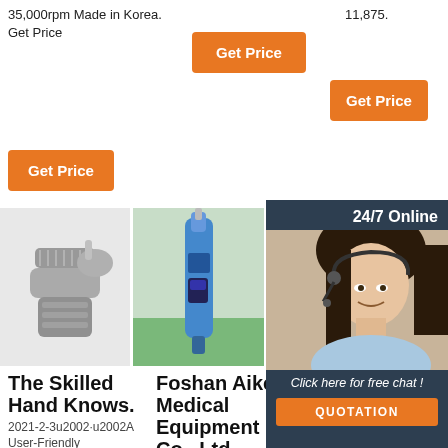35,000rpm Made in Korea. Get Price
11,875.
[Figure (other): Orange 'Get Price' button (top center)]
[Figure (other): Orange 'Get Price' button (top right)]
[Figure (other): Orange 'Get Price' button (left column)]
[Figure (other): Chat panel with 24/7 Online label, woman with headset photo, 'Click here for free chat!' text, and QUOTATION button]
[Figure (photo): Photo of dental handpiece tool (silver/metal)]
[Figure (photo): Photo of blue dental tool/handpiece]
[Figure (photo): Photo of dental handpiece systems]
The Skilled Hand Knows.
2021-2-3u2002·u2002A User-Friendly
Foshan Aike Medical Equipment Co., Ltd. - Dental
Den... Handpiece Systems
Dental handpieces are an essential tool